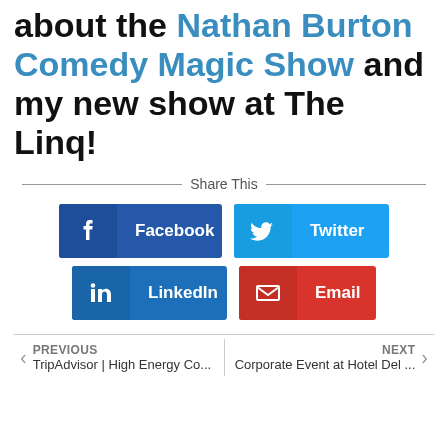about the Nathan Burton Comedy Magic Show and my new show at The Linq!
Share This
[Figure (infographic): Share buttons for Facebook, Twitter, LinkedIn, and Email]
PREVIOUS TripAdvisor | High Energy Co...
NEXT Corporate Event at Hotel Del ...